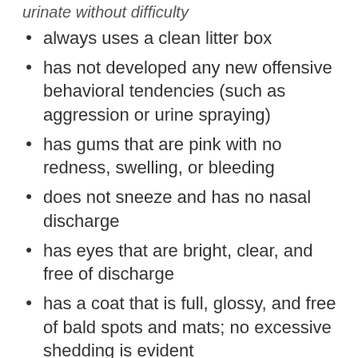urinate without difficulty
always uses a clean litter box
has not developed any new offensive behavioral tendencies (such as aggression or urine spraying)
has gums that are pink with no redness, swelling, or bleeding
does not sneeze and has no nasal discharge
has eyes that are bright, clear, and free of discharge
has a coat that is full, glossy, and free of bald spots and mats; no excessive shedding is evident
doesn't scratch, lick, or chew excessively
has skin that is not greasy and has no offensive odor
is free of fleas, ticks, lice, and mites
has no persistent abnormal swellings